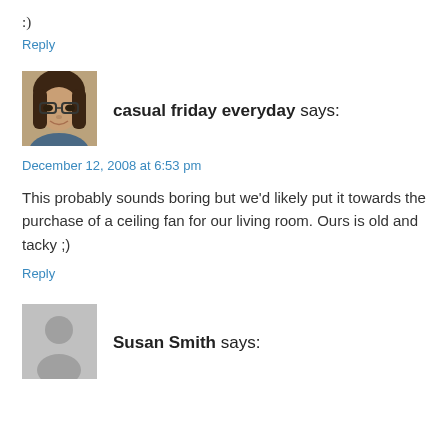:)
Reply
[Figure (photo): Profile photo of casual friday everyday commenter - woman with glasses and brown hair]
casual friday everyday says:
December 12, 2008 at 6:53 pm
This probably sounds boring but we'd likely put it towards the purchase of a ceiling fan for our living room. Ours is old and tacky ;)
Reply
[Figure (photo): Generic gray user avatar silhouette for Susan Smith]
Susan Smith says: